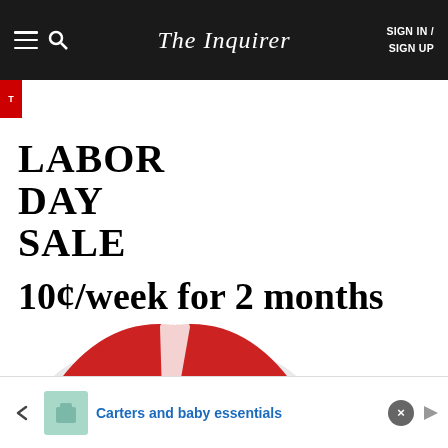The Inquirer | SIGN IN / SIGN UP
LABOR DAY SALE
10¢/week for 2 months
[Figure (illustration): Beach scene illustration showing a red and white beach umbrella with a yellow beach bag]
Carters and baby essentials